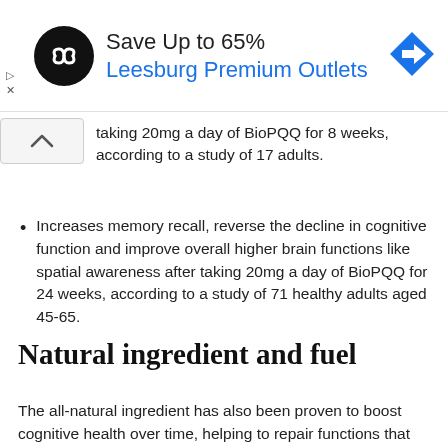[Figure (other): Advertisement banner: circular black logo with infinity-like symbol, text 'Save Up to 65%' and 'Leesburg Premium Outlets' in blue, with blue navigation arrow icon on right. Ad marker symbols on left.]
taking 20mg a day of BioPQQ for 8 weeks, according to a study of 17 adults.
Increases memory recall, reverse the decline in cognitive function and improve overall higher brain functions like spatial awareness after taking 20mg a day of BioPQQ for 24 weeks, according to a study of 71 healthy adults aged 45-65.
Natural ingredient and fuel
The all-natural ingredient has also been proven to boost cognitive health over time, helping to repair functions that become damaged with age.